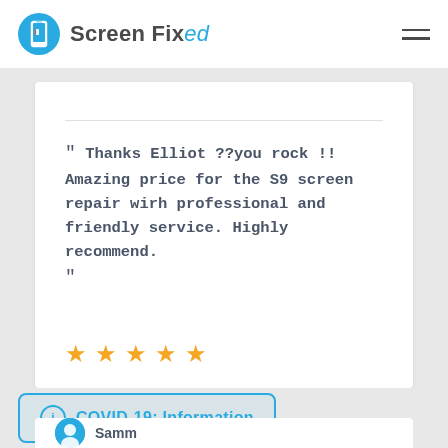Screen Fixed
" Thanks Elliot ??you rock !! Amazing price for the S9 screen repair with professional and friendly service. Highly recommend.
"
[Figure (other): Five gold/orange star rating symbols]
Expert Technician
Melbourne
COVID-19: Information
Samm